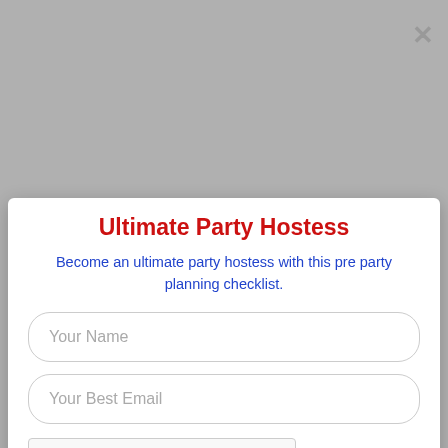[Figure (photo): Circular avatar photo of Christie, a woman with reddish hair, smiling, against a blurred background]
Welcome to Cooking with Christie! I'm Christie and I have a true passion for trying new recipes, cooking, cooking for
Ultimate Party Hostess
Become an ultimate party hostess with this pre party planning checklist.
Your Name
Your Best Email
[Figure (screenshot): reCAPTCHA widget with checkbox labeled I'm not a robot]
MAKE ME AN ULTIMATE HOSTESS!